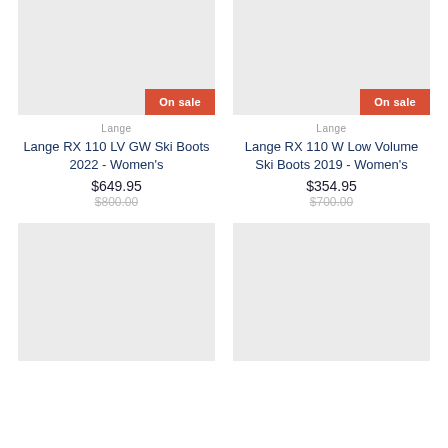[Figure (photo): Product image placeholder for Lange RX 110 LV GW Ski Boots 2022 - Women's, light gray background with On sale badge]
[Figure (photo): Product image placeholder for Lange RX 110 W Low Volume Ski Boots 2019 - Women's, light gray background with On sale badge]
Lange
Lange RX 110 LV GW Ski Boots 2022 - Women's
$649.95
$800.00
Lange
Lange RX 110 W Low Volume Ski Boots 2019 - Women's
$354.95
$700.00
[Figure (photo): Product image placeholder bottom left, light gray background]
[Figure (photo): Product image placeholder bottom right, light gray background]